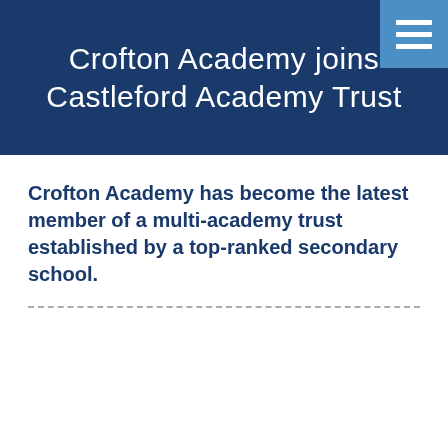[Figure (other): Menu/hamburger icon button in top-right corner with three horizontal white lines on a light blue background]
Crofton Academy joins Castleford Academy Trust
Crofton Academy has become the latest member of a multi-academy trust established by a top-ranked secondary school.